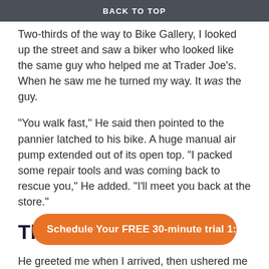BACK TO TOP
Two-thirds of the way to Bike Gallery, I looked up the street and saw a biker who looked like the same guy who helped me at Trader Joe's. When he saw me he turned my way. It was the guy.
“You walk fast,” He said then pointed to the pannier latched to his bike. A huge manual air pump extended out of its open top. “I packed some repair tools and was coming back to rescue you,” He added. “I’ll meet you back at the store.”
The joy keeps coming
He greeted me when I arrived, then ushered me to the maintenance department. There he took my bike, disassembled the wheel, found a firm nail, and showed me what the problem was. He punctured a section of the innertube to dip into one of the spoke dimples. That,
Schedule Your FREE 30-minute trial 1:1